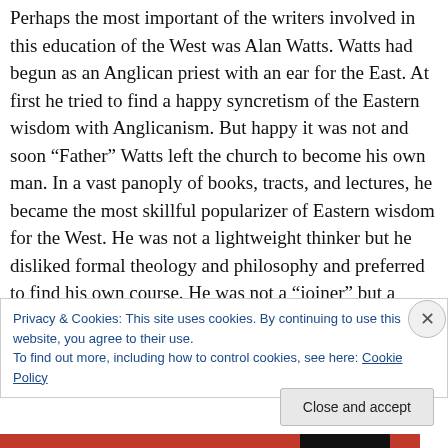Perhaps the most important of the writers involved in this education of the West was Alan Watts. Watts had begun as an Anglican priest with an ear for the East. At first he tried to find a happy syncretism of the Eastern wisdom with Anglicanism. But happy it was not and soon “Father” Watts left the church to become his own man. In a vast panoply of books, tracts, and lectures, he became the most skillful popularizer of Eastern wisdom for the West. He was not a lightweight thinker but he disliked formal theology and philosophy and preferred to find his own course. He was not a “joiner” but a commenting observer.
Privacy & Cookies: This site uses cookies. By continuing to use this website, you agree to their use.
To find out more, including how to control cookies, see here: Cookie Policy